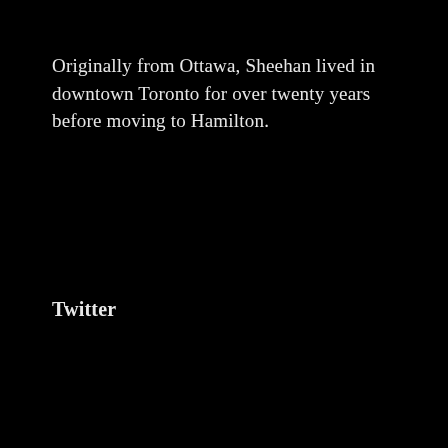Originally from Ottawa, Sheehan lived in downtown Toronto for over twenty years before moving to Hamilton.
Twitter